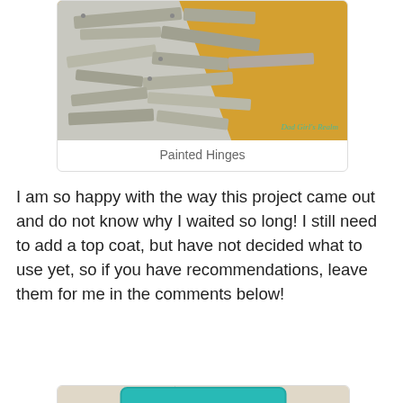[Figure (photo): Photo of painted metal hinges laid out on an orange and grey surface, with a teal cursive watermark in the bottom right]
Painted Hinges
I am so happy with the way this project came out and do not know why I waited so long!  I still need to add a top coat, but have not decided what to use yet, so if you have recommendations, leave them for me in the comments below!
[Figure (photo): Photo of a turquoise/teal painted cabinet with crimson red fabric panels visible through the glass door frame, set against a beige wall]